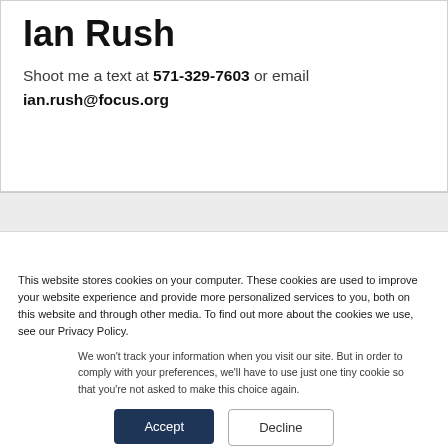Ian Rush
Shoot me a text at 571-329-7603 or email ian.rush@focus.org
This website stores cookies on your computer. These cookies are used to improve your website experience and provide more personalized services to you, both on this website and through other media. To find out more about the cookies we use, see our Privacy Policy.
We won't track your information when you visit our site. But in order to comply with your preferences, we'll have to use just one tiny cookie so that you're not asked to make this choice again.
Accept
Decline